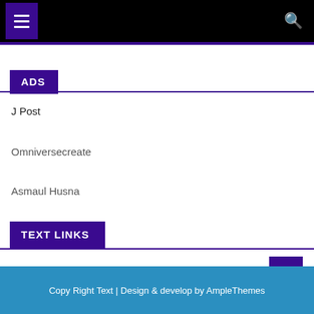Navigation bar with menu and search icons
ADS
J Post
Omniversecreate
Asmaul Husna
TEXT LINKS
Copy Right Text | Design & develop by AmpleThemes